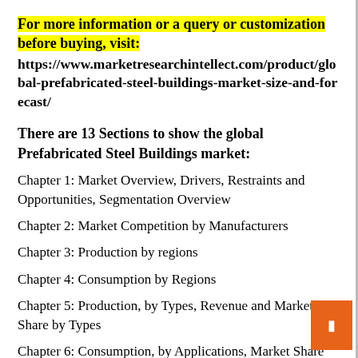For more information or a query or customization before buying, visit:
https://www.marketresearchintellect.com/product/global-prefabricated-steel-buildings-market-size-and-forecast/
There are 13 Sections to show the global Prefabricated Steel Buildings market:
Chapter 1: Market Overview, Drivers, Restraints and Opportunities, Segmentation Overview
Chapter 2: Market Competition by Manufacturers
Chapter 3: Production by regions
Chapter 4: Consumption by Regions
Chapter 5: Production, by Types, Revenue and Market Share by Types
Chapter 6: Consumption, by Applications, Market Share (%) and Growth Rate by Applications